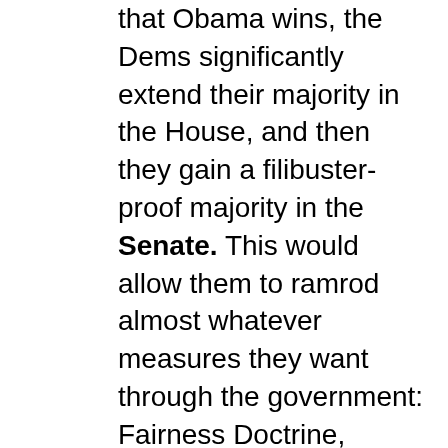that Obama wins, the Dems significantly extend their majority in the House, and then they gain a filibuster-proof majority in the Senate. This would allow them to ramrod almost whatever measures they want through the government: Fairness Doctrine, national health care, whatever. Due to libertarian sensibilities, I prefer a divided government